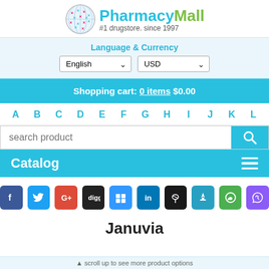[Figure (logo): PharmacyMall logo with globe icon and tagline '#1 drugstore. since 1997']
Language & Currency
English | USD
Shopping cart: 0 items $0.00
A B C D E F G H I J K L
search product
Catalog
[Figure (infographic): Social sharing icons row: Facebook, Twitter, Google+, Digg, Delicious, LinkedIn, Pinboard, Flightradar, WhatsApp, Viber]
Januvia